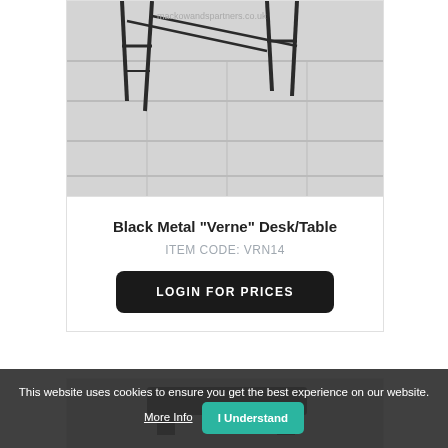[Figure (photo): Product photo of a Black Metal Verne Desk/Table showing metal legs on a wood floor background]
Black Metal "Verne" Desk/Table
ITEM CODE: VRN14
LOGIN FOR PRICES
[Figure (photo): Partial product photo of another item, cropped at bottom of page]
This website uses cookies to ensure you get the best experience on our website. More Info | I Understand